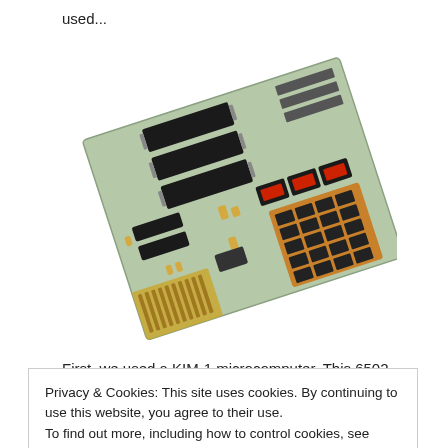used...
[Figure (photo): A KIM-1 single-board microcomputer photographed at an angle, showing the green PCB with ICs, a hexadecimal keypad, and red LED 7-segment displays.]
First, we used a KIM-1 microcomputer. This 6502-
Privacy & Cookies: This site uses cookies. By continuing to use this website, you agree to their use.
To find out more, including how to control cookies, see here: Cookie Policy
Close and accept